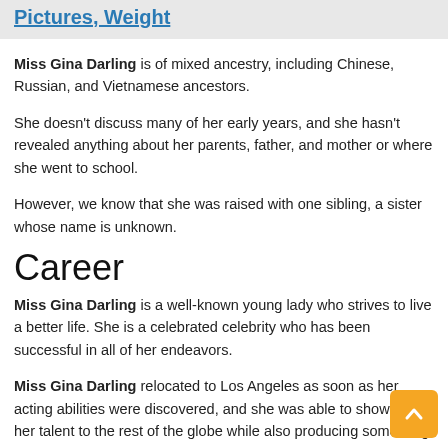Pictures, Weight
Miss Gina Darling is of mixed ancestry, including Chinese, Russian, and Vietnamese ancestors.
She doesn’t discuss many of her early years, and she hasn’t revealed anything about her parents, father, and mother or where she went to school.
However, we know that she was raised with one sibling, a sister whose name is unknown.
Career
Miss Gina Darling is a well-known young lady who strives to live a better life. She is a celebrated celebrity who has been successful in all of her endeavors.
Miss Gina Darling relocated to Los Angeles as soon as her acting abilities were discovered, and she was able to showcase her talent to the rest of the globe while also producing something worthwhile in